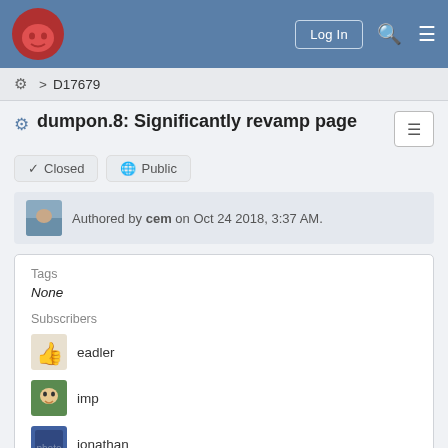Log In
⚙ > D17679
dumpon.8: Significantly revamp page
✔ Closed  🌐 Public
Authored by cem on Oct 24 2018, 3:37 AM.
Tags
None
Subscribers
eadler
imp
jonathan
Details